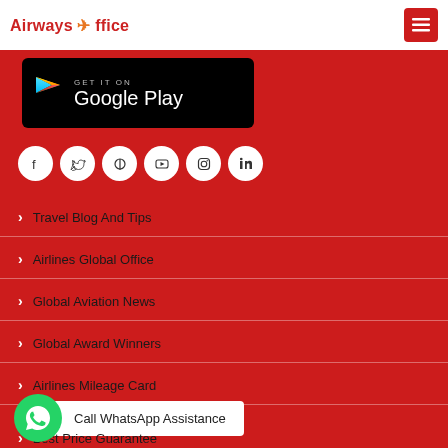Airways Office
[Figure (logo): Get it on Google Play badge with Play Store triangle icon on black background]
[Figure (infographic): Social media icons row: Facebook, Twitter, Pinterest, YouTube, Instagram, LinkedIn — white circles on red background]
Travel Blog And Tips
Airlines Global Office
Global Aviation News
Global Award Winners
Airlines Mileage Card
[Figure (logo): WhatsApp green circle icon with Call WhatsApp Assistance button]
Best Price Guarantee